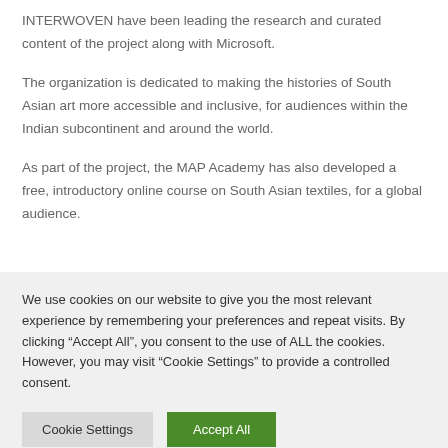INTERWOVEN have been leading the research and curated content of the project along with Microsoft.
The organization is dedicated to making the histories of South Asian art more accessible and inclusive, for audiences within the Indian subcontinent and around the world.
As part of the project, the MAP Academy has also developed a free, introductory online course on South Asian textiles, for a global audience.
We use cookies on our website to give you the most relevant experience by remembering your preferences and repeat visits. By clicking “Accept All”, you consent to the use of ALL the cookies. However, you may visit "Cookie Settings" to provide a controlled consent.